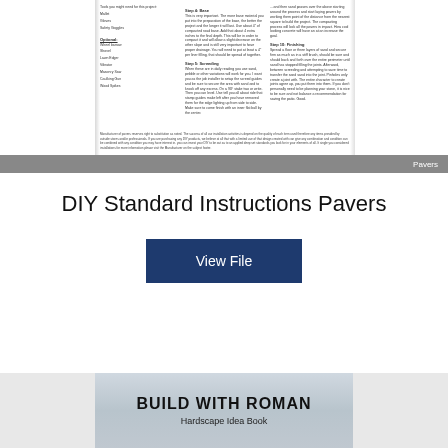[Figure (screenshot): Partial view of a DIY paver instructions document showing multiple steps and optional items listed in two columns]
Pavers
DIY Standard Instructions Pavers
View File
[Figure (illustration): BUILD WITH ROMAN Hardscape Idea Book cover image with illustrated figures and outdoor hardscape scene]